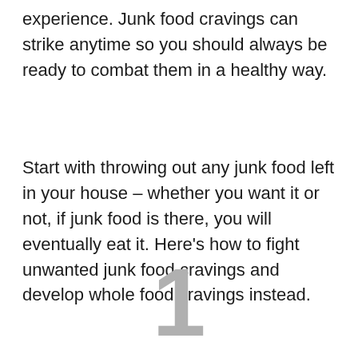experience. Junk food cravings can strike anytime so you should always be ready to combat them in a healthy way.
Start with throwing out any junk food left in your house – whether you want it or not, if junk food is there, you will eventually eat it. Here's how to fight unwanted junk food cravings and develop whole food cravings instead.
1